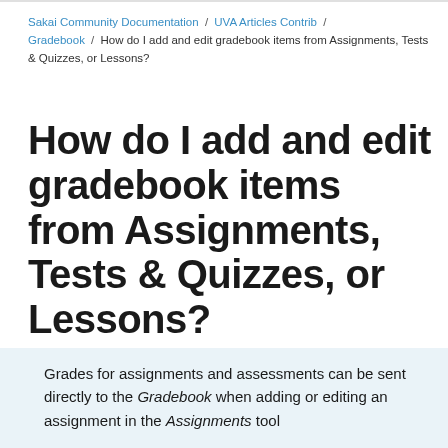Sakai Community Documentation / UVA Articles Contrib / Gradebook / How do I add and edit gradebook items from Assignments, Tests & Quizzes, or Lessons?
How do I add and edit gradebook items from Assignments, Tests & Quizzes, or Lessons?
Grades for assignments and assessments can be sent directly to the Gradebook when adding or editing an assignment in the Assignments tool